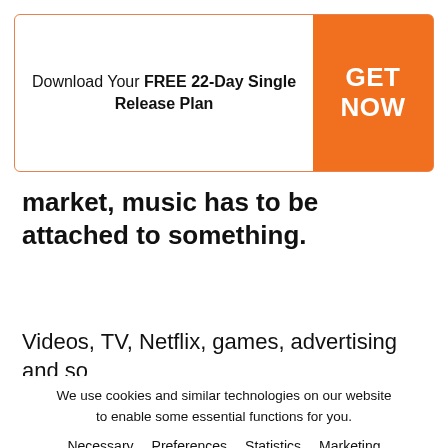Download Your FREE 22-Day Single Release Plan
GET NOW
market, music has to be attached to something.
Videos, TV, Netflix, games, advertising and so
We use cookies and similar technologies on our website to enable some essential functions for you.
Necessary   Preferences   Statistics   Marketing
I Understand